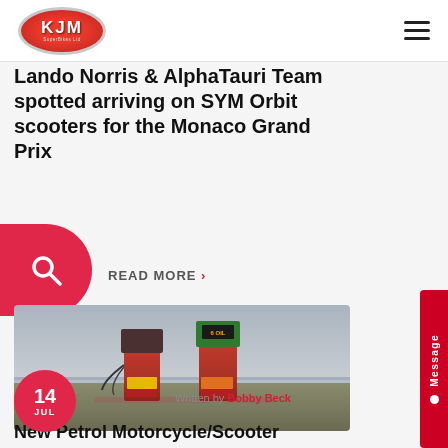KJM SuperBikes Ltd
Lando Norris & AlphaTauri Team spotted arriving on SYM Orbit scooters for the Monaco Grand Prix
READ MORE >
[Figure (photo): Two old rusty red gas/petrol pumps on a platform near a beach/waterfront with overcast sky. Date badge shows 14 JUL.]
Written by Bobby Beck
New Petrol Motorcycle/Scooter